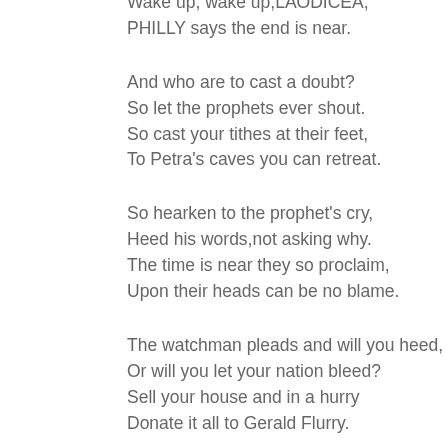Wake up, wake up,LAODICEA,
PHILLY says the end is near.

And who are to cast a doubt?
So let the prophets ever shout.
So cast your tithes at their feet,
To Petra's caves you can retreat.

So hearken to the prophet's cry,
Heed his words,not asking why.
The time is near they so proclaim,
Upon their heads can be no blame.

The watchman pleads and will you heed,
Or will you let your nation bleed?
Sell your house and in a hurry
Donate it all to Gerald Flurry.

Hear ye Israel so truly lost
Between so many options tossed,
The kingship passes father to son,
And next year brings a lot of fun.